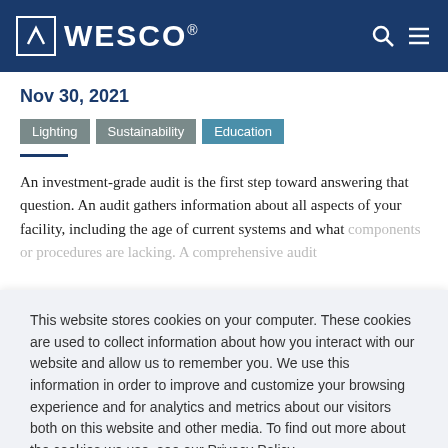WESCO®
Nov 30, 2021
Lighting   Sustainability   Education
An investment-grade audit is the first step toward answering that question. An audit gathers information about all aspects of your facility, including the age of current systems and what components or procedures are lacking. A comprehensive audit
This website stores cookies on your computer. These cookies are used to collect information about how you interact with our website and allow us to remember you. We use this information in order to improve and customize your browsing experience and for analytics and metrics about our visitors both on this website and other media. To find out more about the cookies we use, see our Privacy Policy.
Accept   Decline